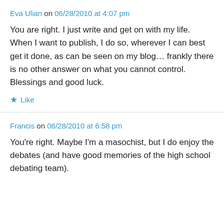Eva Ulian on 06/28/2010 at 4:07 pm
You are right. I just write and get on with my life. When I want to publish, I do so, wherever I can best get it done, as can be seen on my blog… frankly there is no other answer on what you cannot control.
Blessings and good luck.
★ Like
Francis on 06/28/2010 at 6:58 pm
You're right. Maybe I'm a masochist, but I do enjoy the debates (and have good memories of the high school debating team).